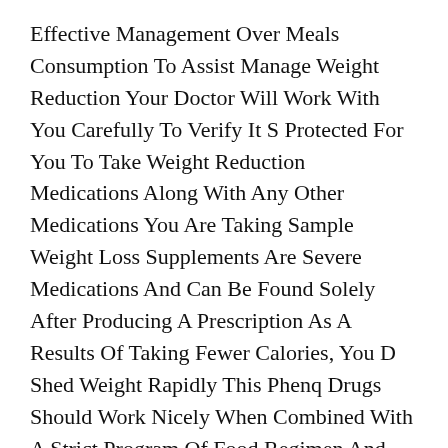Effective Management Over Meals Consumption To Assist Manage Weight Reduction Your Doctor Will Work With You Carefully To Verify It S Protected For You To Take Weight Reduction Medications Along With Any Other Medications You Are Taking Sample Weight Loss Supplements Are Severe Medications And Can Be Found Solely After Producing A Prescription As A Results Of Taking Fewer Calories, You D Shed Weight Rapidly This Phenq Drugs Should Work Nicely When Combined With A Strict Program Of Food Regimen And Exercise.
The Fen Phen Debacle Resulted In Some Of The Most Important Litigation Pay Outs Within The Industry S History, However It S All Baked Into The Formula If You Learn The Journal Pharmacoeconomics And Who Doesn T Positive, A Model New Weight Loss Drug May Injure And Kill So Many Who Expected Litigation Cost Might Exceed